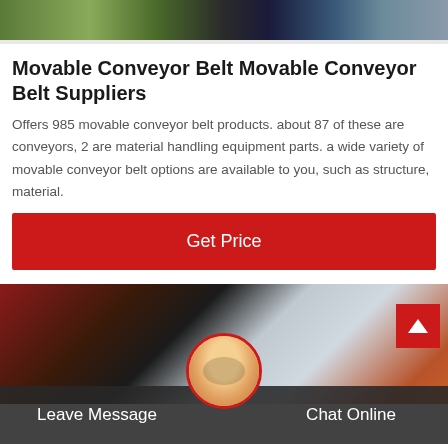[Figure (photo): Top banner image showing outdoor scene with greenery and machinery/equipment]
Movable Conveyor Belt Movable Conveyor Belt Suppliers
Offers 985 movable conveyor belt products. about 87 of these are conveyors, 2 are material handling equipment parts. a wide variety of movable conveyor belt options are available to you, such as structure, material.
[Figure (other): Get Price red button]
[Figure (photo): Bottom image showing conveyor belt machinery in red and grey tones, with back-to-top button, customer service avatar, Leave Message and Chat Online footer bar]